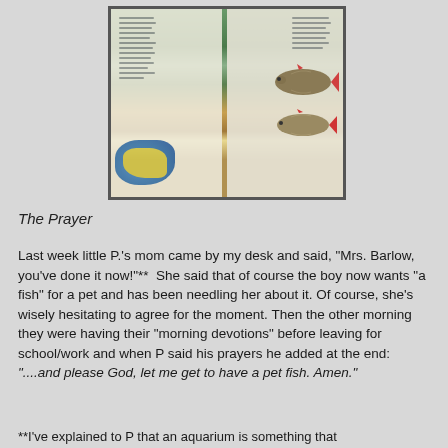[Figure (photo): An open book showing pages with text, a map of Europe, and photographs of fish (carp-like fish with red fins) and a nature/river scene.]
The Prayer
Last week little P.'s mom came by my desk and said, "Mrs. Barlow, you've done it now!"**  She said that of course the boy now wants "a fish" for a pet and has been needling her about it. Of course, she's wisely hesitating to agree for the moment. Then the other morning they were having their "morning devotions" before leaving for school/work and when P said his prayers he added at the end: "....and please God, let me get to have a pet fish. Amen."
**I've explained to P that an aquarium is something that